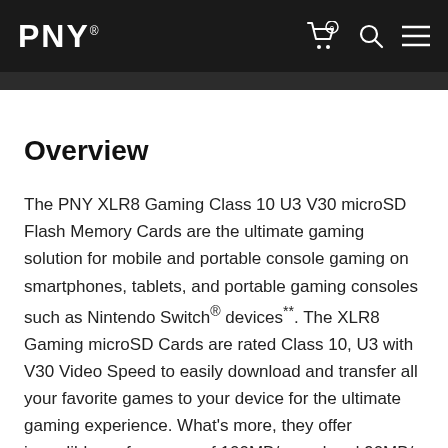PNY.
Overview
The PNY XLR8 Gaming Class 10 U3 V30 microSD Flash Memory Cards are the ultimate gaming solution for mobile and portable console gaming on smartphones, tablets, and portable gaming consoles such as Nintendo Switch® devices**. The XLR8 Gaming microSD Cards are rated Class 10, U3 with V30 Video Speed to easily download and transfer all your favorite games to your device for the ultimate gaming experience. What's more, they offer incredible performance of 100MB/s read and 90MB/s write to allow even the most